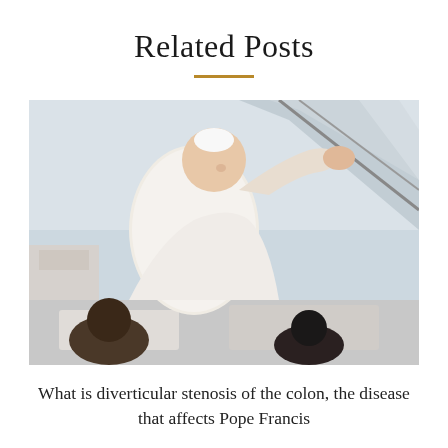Related Posts
[Figure (photo): Pope Francis in white papal vestments waving or boarding a vehicle, with people visible in the foreground and background]
What is diverticular stenosis of the colon, the disease that affects Pope Francis